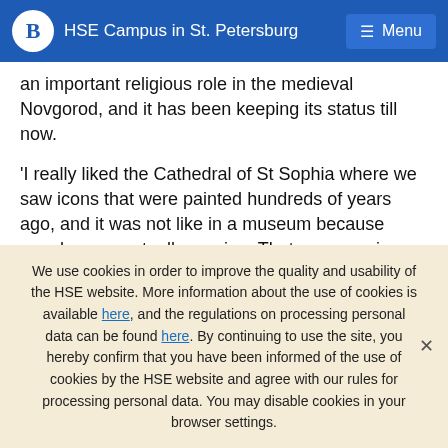HSE Campus in St. Petersburg
an important religious role in the medieval Novgorod, and it has been keeping its status till now.
'I really liked the Cathedral of St Sophia where we saw icons that were painted hundreds of years ago, and it was not like in a museum because people were actually praying. That was genuine, and this impressed me the most', Guoste summed up.
[Figure (other): Social media sharing icons (Facebook, Twitter, email, WhatsApp, RSS)]
We use cookies in order to improve the quality and usability of the HSE website. More information about the use of cookies is available here, and the regulations on processing personal data can be found here. By continuing to use the site, you hereby confirm that you have been informed of the use of cookies by the HSE website and agree with our rules for processing personal data. You may disable cookies in your browser settings.